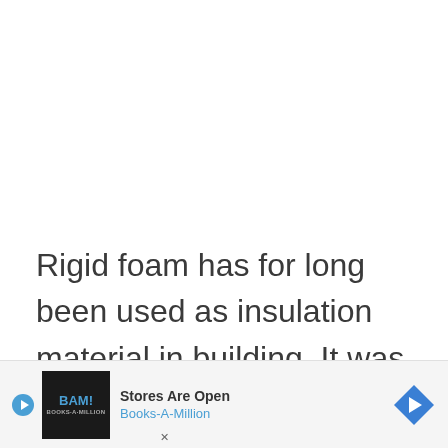Rigid foam has for long been used as insulation material in building. It was first used after a top manufacturer of surfboard ma...
[Figure (infographic): Advertisement banner for Books-A-Million (BAM!) with play button icon, text 'Stores Are Open' and 'Books-A-Million', and a blue diamond-shaped arrow icon on the right.]